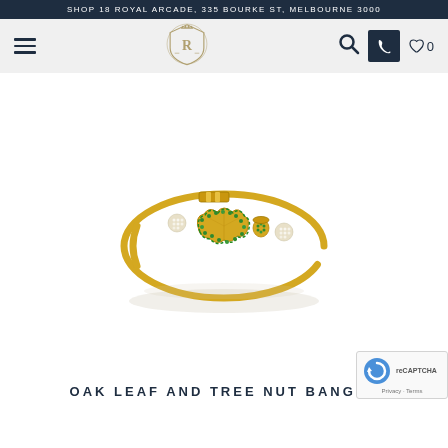SHOP 18 ROYAL ARCADE, 335 BOURKE ST, MELBOURNE 3000
[Figure (logo): Navigation bar with hamburger menu, royal crest logo with R monogram, search icon, phone button, and wishlist with count 0]
[Figure (photo): Gold bangle bracelet with green gemstone oak leaf and tree nut motif, and small diamond-set ball accents, photographed on white background]
OAK LEAF AND TREE NUT BANGLE